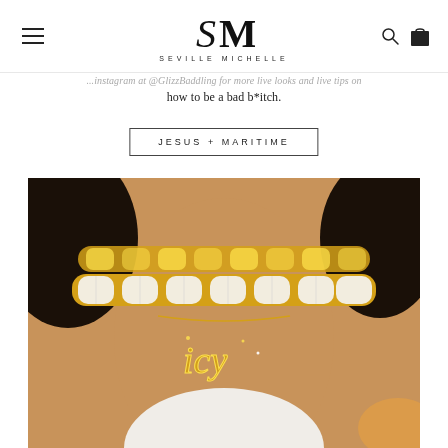SEVILLE MICHELLE — Logo/navigation header
...instagram at @GlizzBaddling for more live looks and live tips on how to be a bad b*itch.
JESUS + MARITIME
[Figure (photo): Close-up photo of a person's neck wearing layered gold Cuban link chains and an icy script pendant necklace]